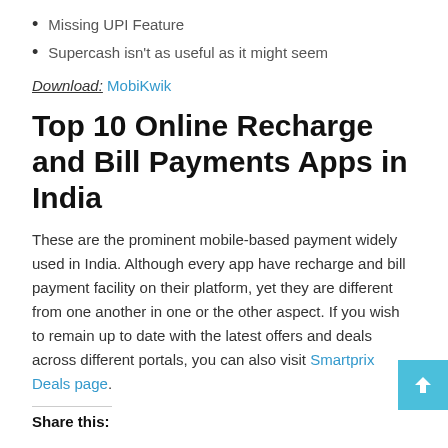Missing UPI Feature
Supercash isn't as useful as it might seem
Download: MobiKwik
Top 10 Online Recharge and Bill Payments Apps in India
These are the prominent mobile-based payment widely used in India. Although every app have recharge and bill payment facility on their platform, yet they are different from one another in one or the other aspect. If you wish to remain up to date with the latest offers and deals across different portals, you can also visit Smartprix Deals page.
Share this: